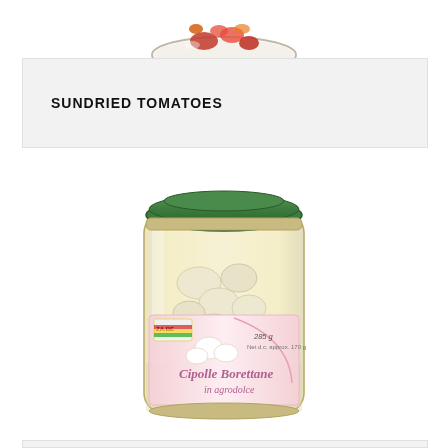[Figure (photo): Partial view of a bowl with sundried tomatoes, cropped at the top of the page]
SUNDRIED TOMATOES
[Figure (photo): Glass jar with green lid containing Cipolle Borettane in agrodolce (sweet and sour pearl onions), labeled 285g / 170g net drained weight, with ZA.BE branding]